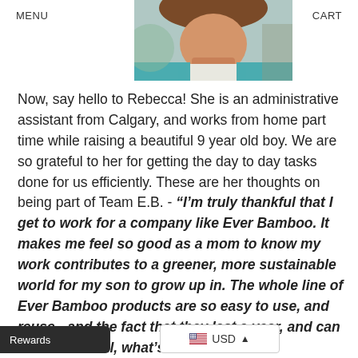MENU    CART
[Figure (photo): Partial photo of Rebecca showing her hair, face/neck area, and teal/white striped shirt top]
Now, say hello to Rebecca! She is an administrative assistant from Calgary, and works from home part time while raising a beautiful 9 year old boy. We are so grateful to her for getting the day to day tasks done for us efficiently. These are her thoughts on being part of Team E.B. - “I’m truly thankful that I get to work for a company like Ever Bamboo. It makes me feel so good as a mom to know my work contributes to a greener, more sustainable world for my son to grow up in. The whole line of Ever Bamboo products are so easy to use, and reuse - and the fact that they last a year, and can then be… Well, what’s
Rewards    USD    Well, what's